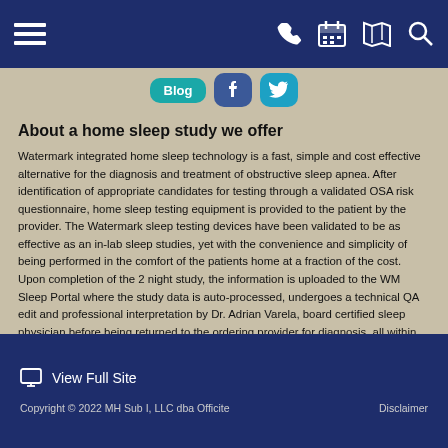Navigation header with menu, phone, calendar, map, and search icons
[Figure (screenshot): Social media buttons: Blog, Facebook, Twitter]
About a home sleep study we offer
Watermark integrated home sleep technology is a fast, simple and cost effective alternative for the diagnosis and treatment of obstructive sleep apnea. After identification of appropriate candidates for testing through a validated OSA risk questionnaire, home sleep testing equipment is provided to the patient by the provider. The Watermark sleep testing devices have been validated to be as effective as an in-lab sleep studies, yet with the convenience and simplicity of being performed in the comfort of the patients home at a fraction of the cost. Upon completion of the 2 night study, the information is uploaded to the WM Sleep Portal where the study data is auto-processed, undergoes a technical QA edit and professional interpretation by Dr. Adrian Varela, board certified sleep physician before being returned to the ordering provider for diagnosis, all within 48 hours.
View Full Site
Copyright © 2022 MH Sub I, LLC dba Officite   Disclaimer